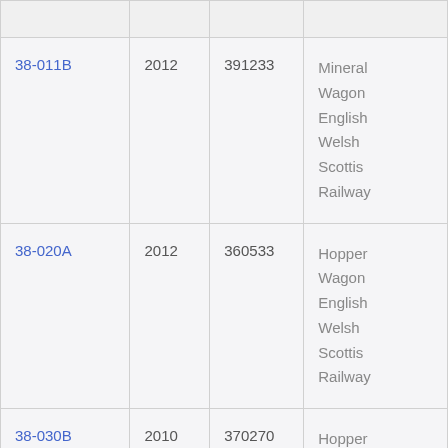|  |  |  |  |
| --- | --- | --- | --- |
| 38-011B | 2012 | 391233 | Mineral Wagon English Welsh Scottish Railway |
| 38-020A | 2012 | 360533 | Hopper Wagon English Welsh Scottish Railway |
| 38-030B | 2010 | 370270 | Hopper Wagon Freightl |